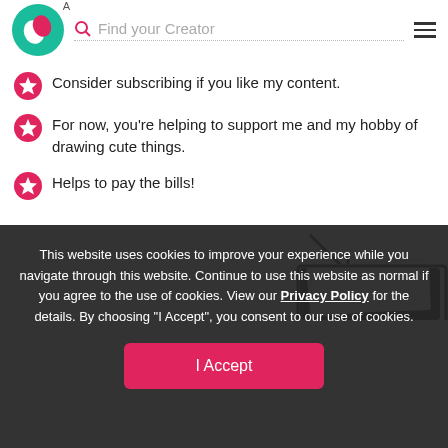Find your Creator
Consider subscribing if you like my content.
For now, you're helping to support me and my hobby of drawing cute things.
Helps to pay the bills!
[Figure (illustration): Digital drawing of a dark box or bag with white contents spilling out, with a dark arrow pointing downward above it]
This website uses cookies to improve your experience while you navigate through this website. Continue to use this website as normal if you agree to the use of cookies. View our Privacy Policy for the details. By choosing "I Accept", you consent to our use of cookies.
[Figure (illustration): Partial dark illustration of character at bottom of cookie banner overlay]